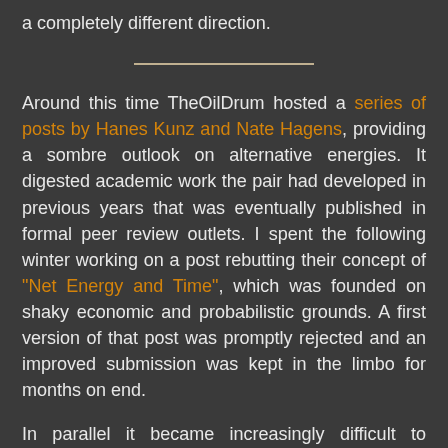a completely different direction.
Around this time TheOilDrum hosted a series of posts by Hanes Kunz and Nate Hagens, providing a sombre outlook on alternative energies. It digested academic work the pair had developed in previous years that was eventually published in formal peer review outlets. I spent the following winter working on a post rebutting their concept of "Net Energy and Time", which was founded on shaky economic and probabilistic grounds. A first version of that post was promptly rejected and an improved submission was kept in the limbo for months on end.
In parallel it became increasingly difficult to publishing guest articles. As a contributor I felt one of my roles to be the gathering of material of interest for the readership. But if the theme was somewhat optimistic on the future publication became difficult. At some point I decided to step back. It simply was not possible to continue investing dozens of work hours on articles that could never get published.